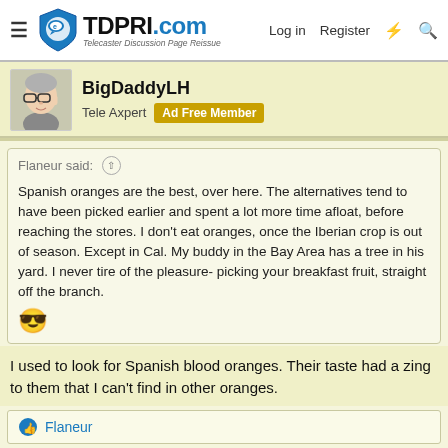TDPRI.com — Telecaster Discussion Page Reissue — Log in | Register
BigDaddyLH
Tele Axpert | Ad Free Member
Flaneur said:
Spanish oranges are the best, over here. The alternatives tend to have been picked earlier and spent a lot more time afloat, before reaching the stores. I don't eat oranges, once the Iberian crop is out of season. Except in Cal. My buddy in the Bay Area has a tree in his yard. I never tire of the pleasure- picking your breakfast fruit, straight off the branch. 😎
I used to look for Spanish blood oranges. Their taste had a zing to them that I can't find in other oranges.
👍 Flaneur
Jul 17, 2022   #19